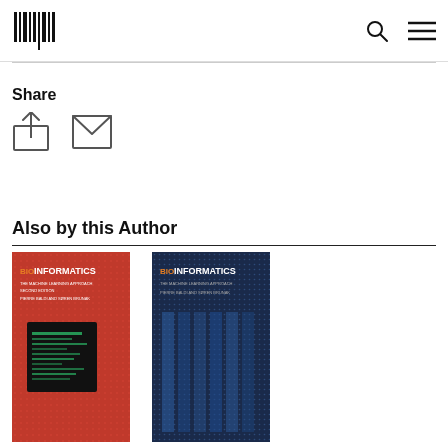MIT Press logo, search icon, menu icon
Share
[Figure (illustration): Share icons: upload/share arrow icon and email envelope icon]
Also by this Author
[Figure (photo): Book cover: Bioinformatics The Machine Learning Approach Second Edition - red cover with circuit pattern by Pierre Baldi and Soren Brunak]
[Figure (photo): Book cover: Bioinformatics The Machine Learning Approach - dark navy blue cover with dot matrix pattern by Pierre Baldi and Soren Brunak]